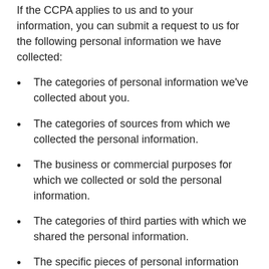If the CCPA applies to us and to your information, you can submit a request to us for the following personal information we have collected:
The categories of personal information we've collected about you.
The categories of sources from which we collected the personal information.
The business or commercial purposes for which we collected or sold the personal information.
The categories of third parties with which we shared the personal information.
The specific pieces of personal information we collected about you.